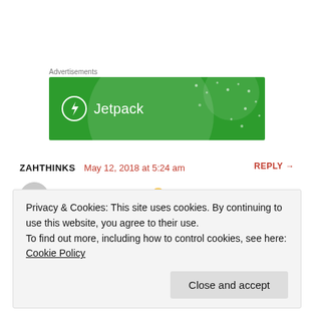Advertisements
[Figure (illustration): Jetpack advertisement banner on green background with logo and brand name]
ZAHTHINKS May 12, 2018 at 5:24 am REPLY →
Loved the pants.. 😍
Privacy & Cookies: This site uses cookies. By continuing to use this website, you agree to their use.
To find out more, including how to control cookies, see here: Cookie Policy
Close and accept